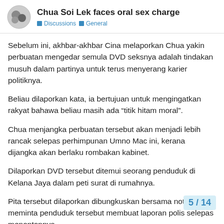Chua Soi Lek faces oral sex charge | Discussions | General
Sebelum ini, akhbar-akhbar Cina melaporkan Chua yakin perbuatan mengedar semula DVD seksnya adalah tindakan musuh dalam partinya untuk terus menyerang karier politiknya.
Beliau dilaporkan kata, ia bertujuan untuk mengingatkan rakyat bahawa beliau masih ada “titik hitam moral”.
Chua menjangka perbuatan tersebut akan menjadi lebih rancak selepas perhimpunan Umno Mac ini, kerana dijangka akan berlaku rombakan kabinet.
Dilaporkan DVD tersebut ditemui seorang penduduk di Kelana Jaya dalam peti surat di rumahnya.
Pita tersebut dilaporkan dibungkuskan bersama nota yang meminta penduduk tersebut membuat laporan polis selepas menontonnya.
Laporan polis mengenainya dibuat di ibu p... Jaya pada 19 Februari lalu.
5 / 14